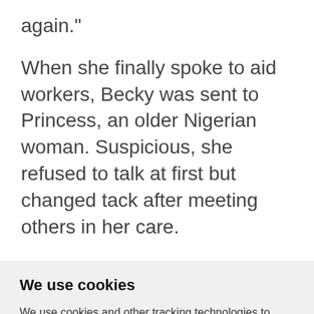again."
When she finally spoke to aid workers, Becky was sent to Princess, an older Nigerian woman. Suspicious, she refused to talk at first but changed tack after meeting others in her care.
We use cookies
We use cookies and other tracking technologies to improve your browsing experience on our website, to show you personalized content and targeted ads, to analyze our website traffic, and to understand where our visitors are coming from.